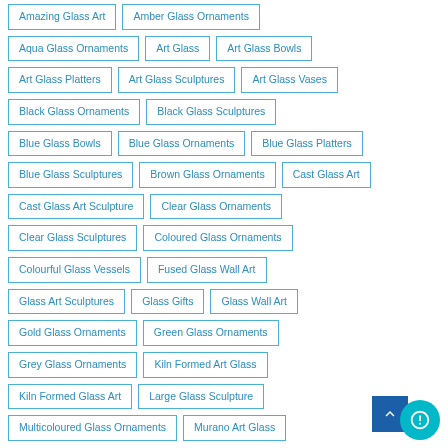Amazing Glass Art
Amber Glass Ornaments
Aqua Glass Ornaments
Art Glass
Art Glass Bowls
Art Glass Platters
Art Glass Sculptures
Art Glass Vases
Black Glass Ornaments
Black Glass Sculptures
Blue Glass Bowls
Blue Glass Ornaments
Blue Glass Platters
Blue Glass Sculptures
Brown Glass Ornaments
Cast Glass Art
Cast Glass Art Sculpture
Clear Glass Ornaments
Clear Glass Sculptures
Coloured Glass Ornaments
Colourful Glass Vessels
Fused Glass Wall Art
Glass Art Sculptures
Glass Gifts
Glass Wall Art
Gold Glass Ornaments
Green Glass Ornaments
Grey Glass Ornaments
Kiln Formed Art Glass
Kiln Formed Glass Art
Large Glass Sculpture
Multicoloured Glass Ornaments
Murano Art Glass